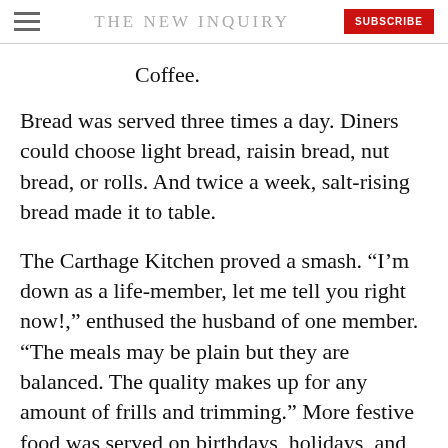THE NEW INQUIRY
Coffee.
Bread was served three times a day. Diners could choose light bread, raisin bread, nut bread, or rolls. And twice a week, salt-rising bread made it to table.
The Carthage Kitchen proved a smash. “I’m down as a life-member, let me tell you right now!,” enthused the husband of one member. “The meals may be plain but they are balanced. The quality makes up for any amount of frills and trimming.” More festive food was served on birthdays, holidays, and other occasions, during which members were treated to special feasts